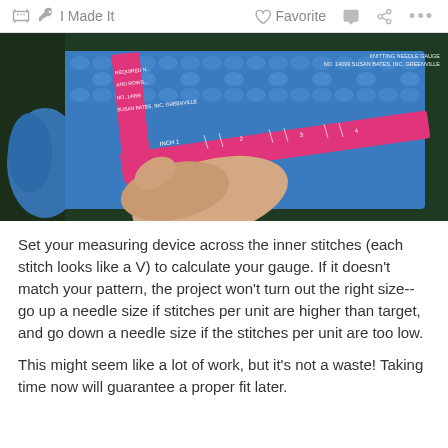I Made It   Favorite   ...
[Figure (photo): A hand holding a pink measuring gauge/ruler against a blue crocheted swatch on a dark green background. The ruler shows inch markings and reads 'KNITTING NEEDLE GAUGE, NO. 14099 SUSAN BATES, INC. GREENVILLE'.]
Set your measuring device across the inner stitches (each stitch looks like a V) to calculate your gauge. If it doesn't match your pattern, the project won't turn out the right size-- go up a needle size if stitches per unit are higher than target, and go down a needle size if the stitches per unit are too low.
This might seem like a lot of work, but it's not a waste! Taking time now will guarantee a proper fit later.